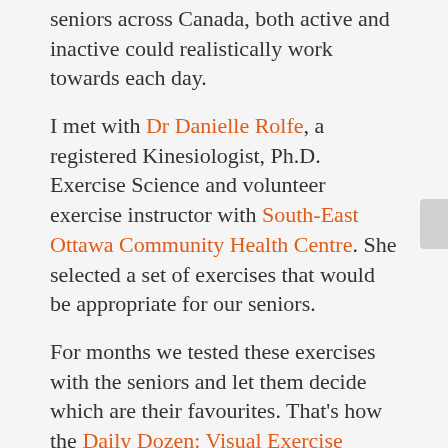seniors across Canada, both active and inactive could realistically work towards each day.
I met with Dr Danielle Rolfe, a registered Kinesiologist, Ph.D. Exercise Science and volunteer exercise instructor with South-East Ottawa Community Health Centre. She selected a set of exercises that would be appropriate for our seniors.
For months we tested these exercises with the seniors and let them decide which are their favourites. That's how the Daily Dozen: Visual Exercise Guide for Seniors 65+ was created.
While testing the Daily Dozen with the seniors I met Barbara, a Canadian born, Ottawa community Housing senior resident. She was the one to suggest installing the